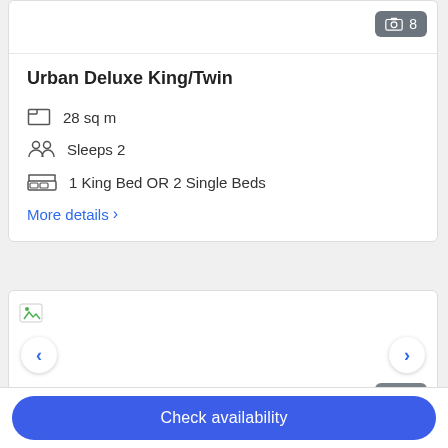[Figure (screenshot): Hotel room listing card showing room image thumbnail area with photo count badge showing 8]
Urban Deluxe King/Twin
28 sq m
Sleeps 2
1 King Bed OR 2 Single Beds
More details ›
[Figure (photo): Hotel room image carousel with navigation arrows and photo count badge showing 7]
Check availability